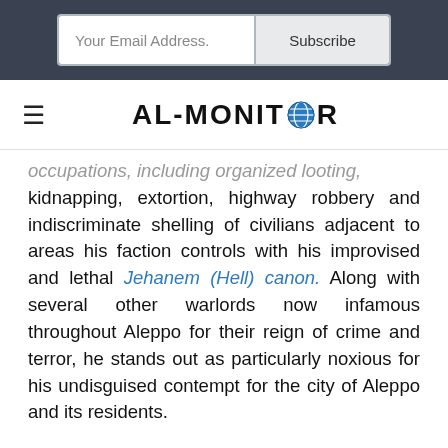[Figure (screenshot): Email subscription form with 'Your Email Address.' input field and 'Subscribe' button on dark background header]
[Figure (logo): AL-MONITOR logo with globe icon replacing the letter O, in bold black text on white background with hamburger menu icon on the left]
occupations, including organized looting, kidnapping, extortion, highway robbery and indiscriminate shelling of civilians adjacent to areas his faction controls with his improvised and lethal Jehanem (Hell) canon. Along with several other warlords now infamous throughout Aleppo for their reign of crime and terror, he stands out as particularly noxious for his undisguised contempt for the city of Aleppo and its residents.
His more outrageous crimes were carried out in the industrial area of his power, on the